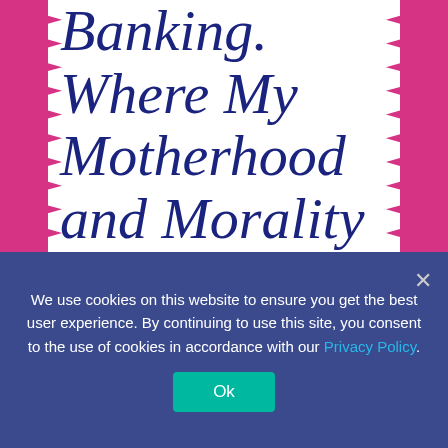Banking. Where My Motherhood and Morality Meet.
December 7, 2012 | By: Liz
Every once in a while I have true conflicts between my self as a former infertility patient and my career as a reproductive lawyer and adoption attorney. A couple of
We use cookies on this website to ensure you get the best user experience. By continuing to use this site, you consent to the use of cookies in accordance with our Privacy Policy.